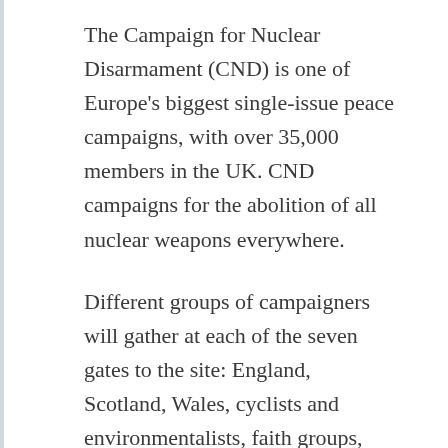The Campaign for Nuclear Disarmament (CND) is one of Europe's biggest single-issue peace campaigns, with over 35,000 members in the UK. CND campaigns for the abolition of all nuclear weapons everywhere.
Different groups of campaigners will gather at each of the seven gates to the site: England, Scotland, Wales, cyclists and environmentalists, faith groups, students and women.
Individuals taking part include: Jody Williams, who was awarded the 1997 Nobel Peace Prize alongside the organisation she was the chief